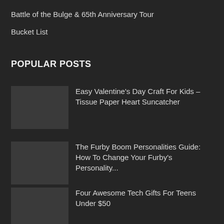Battle of the Bulge & 65th Anniversary Tour
Bucket List
POPULAR POSTS
Easy Valentine's Day Craft For Kids – Tissue Paper Heart Suncatcher
The Furby Boom Personalities Guide: How To Change Your Furby's Personality...
Four Awesome Tech Gifts For Teens Under $50